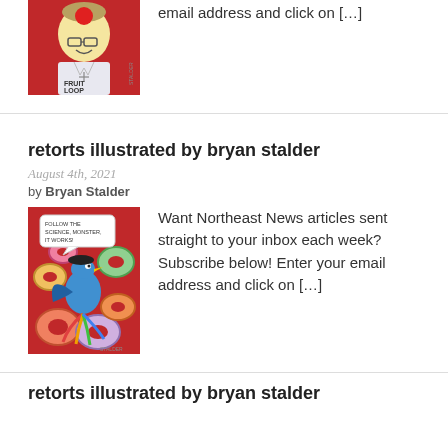email address and click on […]
[Figure (illustration): Cartoon illustration of a character labeled 'Fruit Loop' wearing glasses and a lab coat, on a red background, signed by artist]
retorts illustrated by bryan stalder
August 4th, 2021
by Bryan Stalder
[Figure (illustration): Colorful cartoon illustration of a bird surrounded by donuts/rings on a red background with a speech bubble saying 'Follow the science, monster, it works!']
Want Northeast News articles sent straight to your inbox each week? Subscribe below! Enter your email address and click on […]
retorts illustrated by bryan stalder